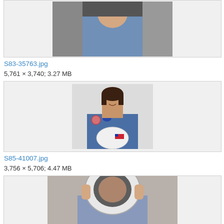[Figure (photo): Partial view of astronaut in blue flight suit in cockpit area, cropped at top of page]
S83-35763.jpg
5,761 × 3,740; 3.27 MB
[Figure (photo): Female astronaut in blue NASA flight suit holding a white helmet with US flag, smiling, portrait photo]
S85-41007.jpg
3,756 × 5,706; 4.47 MB
[Figure (photo): Astronaut in full spacesuit and helmet, holding helmet visor area, partial view cropped at bottom of page]